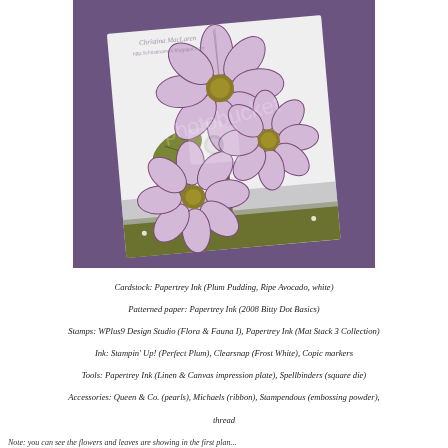[Figure (photo): A handmade greeting card featuring stamped and colored daisy/cosmos flowers in lavender/purple hues with olive green leaves and stems, set on a white card base with a dark olive green border strip at the bottom, placed against a deep purple cardstock background. The card is shown at a slight angle. Watermark overlay visible on image.]
Cardstock:  Papertrey Ink (Plum Pudding, Ripe Avocado, white)
Patterned paper:  Papertrey Ink (2008 Bitty Dot Basics)
Stamps:  WPlus9 Design Studio (Flora & Fauna I), Papertrey Ink (Mat Stack 3 Collection)
Ink:  Stampin' Up! (Perfect Plum), Clearsnap (Frost White), Copic markers
Tools:  Papertrey Ink (Linen & Canvas impression plate), Spellbinders (square die)
Accessories:  Queen & Co. (pearls), Michaels (ribbon), Stampendous (embossing powder), thread
Note: you can see the flowers and leaves are showing in the first plan...